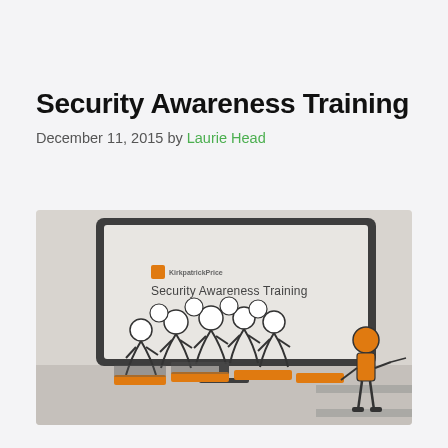Security Awareness Training
December 11, 2015 by Laurie Head
[Figure (illustration): Illustration showing a group of white stick-figure people seated at laptops watching a presenter standing beside a large monitor screen displaying KirkpatrickPrice Security Awareness Training logo. Orange laptops are open in front of audience figures. The presenter figure is colored orange. Background is light grey.]